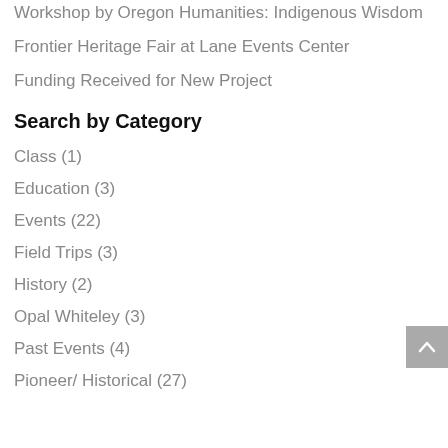Workshop by Oregon Humanities: Indigenous Wisdom
Frontier Heritage Fair at Lane Events Center
Funding Received for New Project
Search by Category
Class (1)
Education (3)
Events (22)
Field Trips (3)
History (2)
Opal Whiteley (3)
Past Events (4)
Pioneer/ Historical (27)